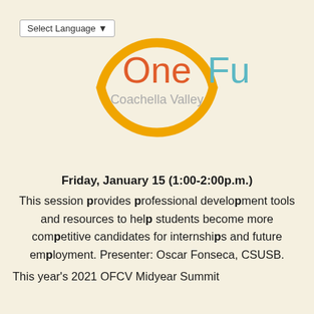[Figure (logo): OneFuture Coachella Valley logo — circular arc in orange/gold, with 'One' in orange and 'Future' in teal, subtitle 'Coachella Valley' in gray]
Friday, January 15 (1:00-2:00p.m.) This session provides professional development tools and resources to help students become more competitive candidates for internships and future employment. Presenter: Oscar Fonseca, CSUSB. This year's 2021 OFCV Midyear Summit